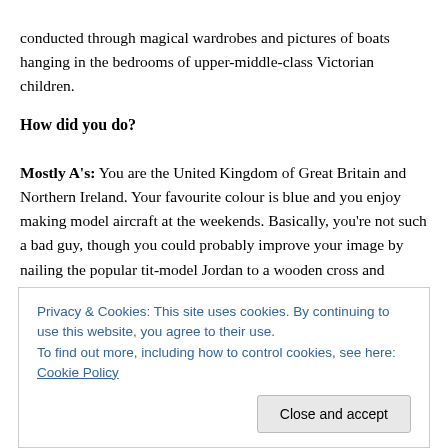conducted through magical wardrobes and pictures of boats hanging in the bedrooms of upper-middle-class Victorian children.
How did you do?
Mostly A's: You are the United Kingdom of Great Britain and Northern Ireland. Your favourite colour is blue and you enjoy making model aircraft at the weekends. Basically, you're not such a bad guy, though you could probably improve your image by nailing the popular tit-model Jordan to a wooden cross and sealing it within a coffin
Privacy & Cookies: This site uses cookies. By continuing to use this website, you agree to their use.
To find out more, including how to control cookies, see here: Cookie Policy